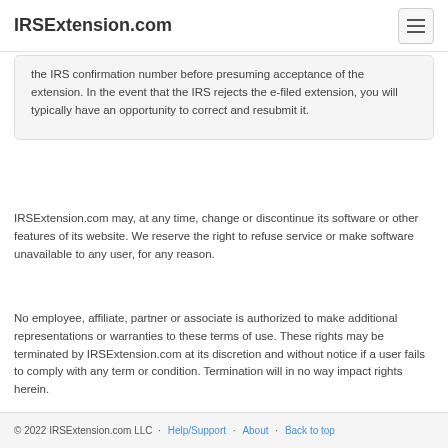IRSExtension.com
the IRS confirmation number before presuming acceptance of the extension. In the event that the IRS rejects the e-filed extension, you will typically have an opportunity to correct and resubmit it.
IRSExtension.com may, at any time, change or discontinue its software or other features of its website. We reserve the right to refuse service or make software unavailable to any user, for any reason.
No employee, affiliate, partner or associate is authorized to make additional representations or warranties to these terms of use. These rights may be terminated by IRSExtension.com at its discretion and without notice if a user fails to comply with any term or condition. Termination will in no way impact rights herein.
© 2022 IRSExtension.com LLC · Help/Support · About · Back to top